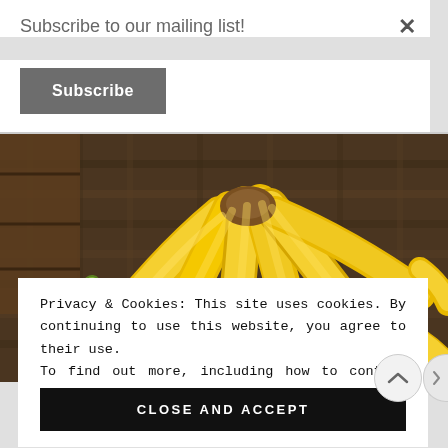Subscribe to our mailing list!
Subscribe
[Figure (photo): A bunch of ripe yellow bananas arranged on a wicker basket surface with wooden crate in background]
Privacy & Cookies: This site uses cookies. By continuing to use this website, you agree to their use.
To find out more, including how to control cookies, see here: Cookie Policy
CLOSE AND ACCEPT